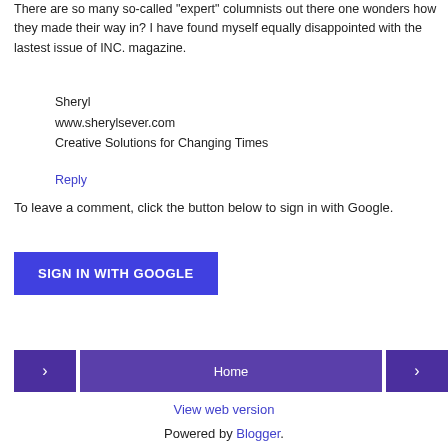There are so many so-called "expert" columnists out there one wonders how they made their way in? I have found myself equally disappointed with the lastest issue of INC. magazine.
Sheryl
www.sherylsever.com
Creative Solutions for Changing Times
Reply
To leave a comment, click the button below to sign in with Google.
[Figure (other): SIGN IN WITH GOOGLE button (blue/indigo)]
[Figure (other): Navigation bar with previous arrow, Home button, and next arrow, all in purple]
View web version
Powered by Blogger.